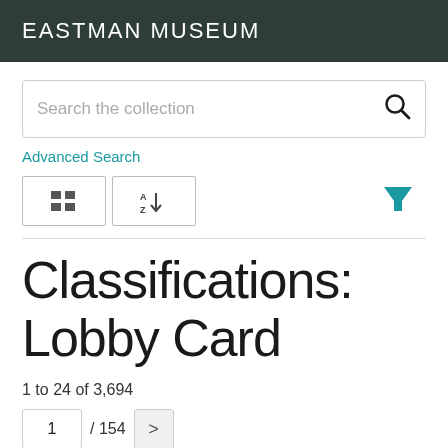EASTMAN MUSEUM
[Figure (screenshot): Search box with placeholder text 'Search the collection' and a magnifying glass icon on the right]
Advanced Search
[Figure (infographic): Toolbar with two view icon buttons (list view, sort A-Z) and a teal funnel/filter icon]
Classifications: Lobby Card
1 to 24 of 3,694
1 / 154 >